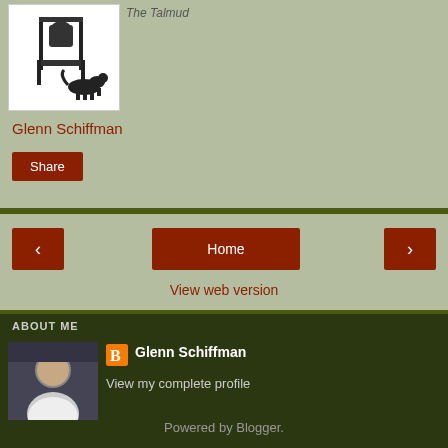[Figure (illustration): Book cover thumbnail showing a silhouette of a person with a dog beside a chair]
The Talmud
Glenn Schiffman
Share
‹
Home
›
View web version
ABOUT ME
[Figure (photo): Profile photo of Glenn Schiffman, an older man in a white shirt]
Glenn Schiffman
View my complete profile
Powered by Blogger.